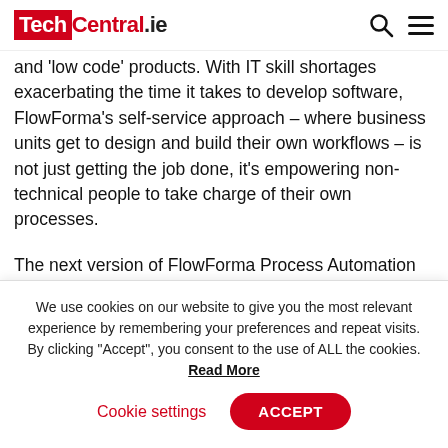TechCentral.ie
and ‘low code’ products. With IT skill shortages exacerbating the time it takes to develop software, FlowForma’s self-service approach – where business units get to design and build their own workflows – is not just getting the job done, it’s empowering non-technical people to take charge of their own processes.
The next version of FlowForma Process Automation will be Microsoft 365/SharePoint independent. While it
We use cookies on our website to give you the most relevant experience by remembering your preferences and repeat visits. By clicking “Accept”, you consent to the use of ALL the cookies. Read More
Cookie settings   ACCEPT